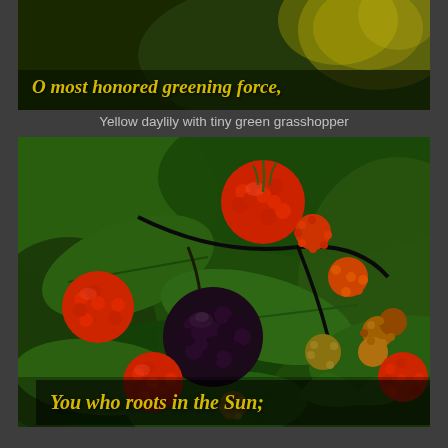[Figure (photo): Dark background photo of a yellow daylily flower with a tiny green grasshopper, overlaid with yellow italic poem text 'O most honored greening force,']
O most honored greening force,
Yellow daylily with tiny green grasshopper
[Figure (photo): Close-up photograph of blackberries and raspberries in various stages of ripeness on a thorny bush with green leaves. Berries range from ripe black to red to unripe green-orange.]
You who roots in the Sun;